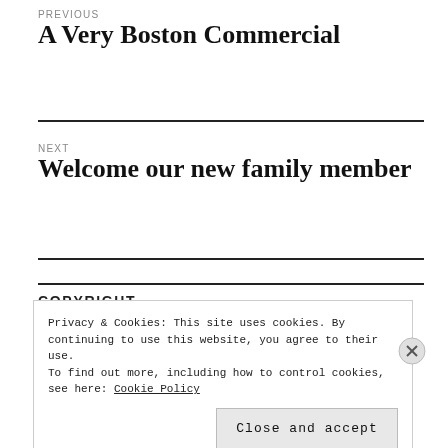PREVIOUS
A Very Boston Commercial
NEXT
Welcome our new family member
COPYRIGHT
Privacy & Cookies: This site uses cookies. By continuing to use this website, you agree to their use.
To find out more, including how to control cookies, see here: Cookie Policy
Close and accept